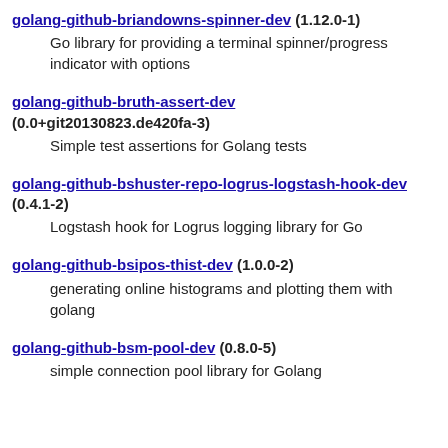golang-github-briandowns-spinner-dev (1.12.0-1)
Go library for providing a terminal spinner/progress indicator with options
golang-github-bruth-assert-dev (0.0+git20130823.de420fa-3)
Simple test assertions for Golang tests
golang-github-bshuster-repo-logrus-logstash-hook-dev (0.4.1-2)
Logstash hook for Logrus logging library for Go
golang-github-bsipos-thist-dev (1.0.0-2)
generating online histograms and plotting them with golang
golang-github-bsm-pool-dev (0.8.0-5)
simple connection pool library for Golang